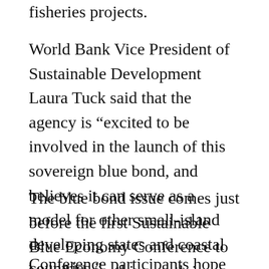fisheries projects.
World Bank Vice President of Sustainable Development Laura Tuck said that the agency is “excited to be involved in the launch of this sovereign blue bond, and believes it can serve as a model for other small-island developing states and coastal countries.”
The blue bond issue comes just before the first Sustainable Blue Economy Conference to be held later this month in Nairobi.
Conference participants hope to look at